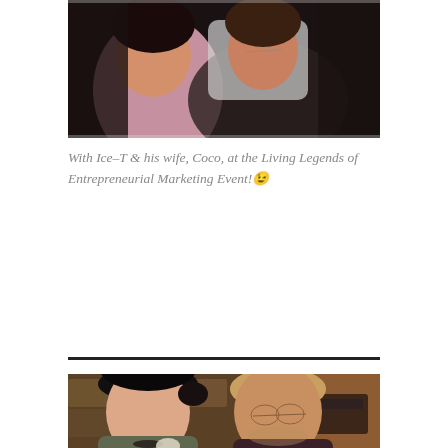[Figure (photo): Photo of people at an event, partially visible at top of page]
With Ice-T & his wife, Coco, at the Living Legends of Entrepreneurial Marketing Event! 😆
[Figure (photo): Photo of a woman and an older man with glasses smiling together, stone wall background with what appears to be a typewriter in the background]